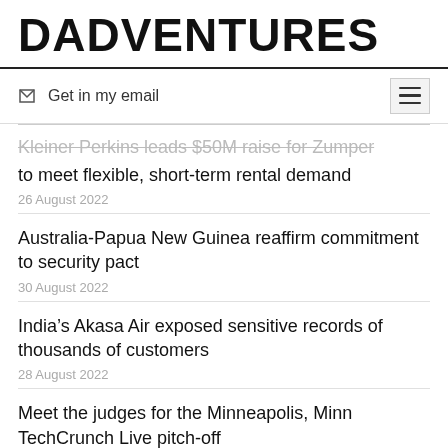DADVENTURES
✉ Get in my email
Kleiner Perkins leads $50M raise for Zumper to meet flexible, short-term rental demand
26 August 2022
Australia-Papua New Guinea reaffirm commitment to security pact
30 August 2022
India's Akasa Air exposed sensitive records of thousands of customers
28 August 2022
Meet the judges for the Minneapolis, Minn TechCrunch Live pitch-off